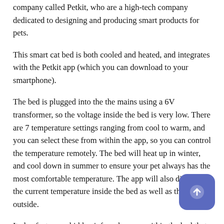company called Petkit, who are a high-tech company dedicated to designing and producing smart products for pets.
This smart cat bed is both cooled and heated, and integrates with the Petkit app (which you can download to your smartphone).
The bed is plugged into the the mains using a 6V transformer, so the voltage inside the bed is very low. There are 7 temperature settings ranging from cool to warm, and you can select these from within the app, so you can control the temperature remotely. The bed will heat up in winter, and cool down in summer to ensure your pet always has the most comfortable temperature. The app will also display the current temperature inside the bed as well as the room outside.
It also features a hidden infrared sensor within the bed that